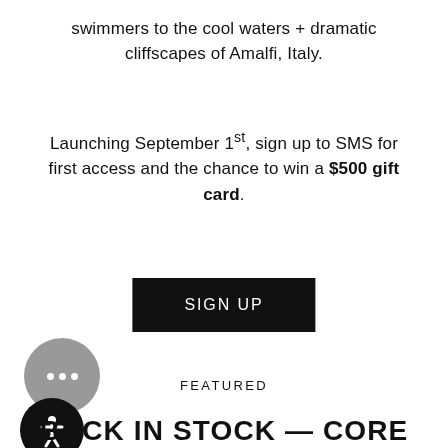swimmers to the cool waters + dramatic cliffscapes of Amalfi, Italy.
Launching September 1st, sign up to SMS for first access and the chance to win a $500 gift card.
SIGN UP
FEATURED
BACK IN STOCK — CORE